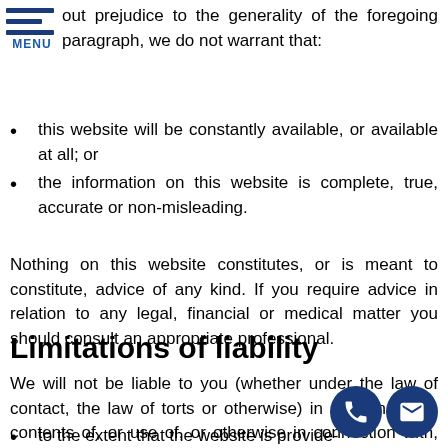out prejudice to the generality of the foregoing paragraph, we do not warrant that:
this website will be constantly available, or available at all; or
the information on this website is complete, true, accurate or non-misleading.
Nothing on this website constitutes, or is meant to constitute, advice of any kind. If you require advice in relation to any legal, financial or medical matter you should consult an appropriate professional.
Limitations of liability
We will not be liable to you (whether under the law of contact, the law of torts or otherwise) in relation to the contents of, or use of, or otherwise in connection with, this website:
to the extent that the website is provided free-of-charge, for any direct loss;